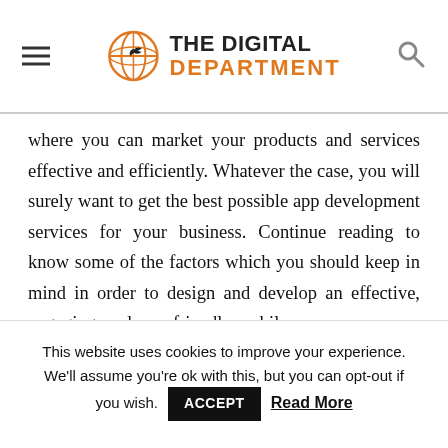THE DIGITAL DEPARTMENT
where you can market your products and services effective and efficiently. Whatever the case, you will surely want to get the best possible app development services for your business. Continue reading to know some of the factors which you should keep in mind in order to design and develop an effective, engaging, and user-friendly mobile app.
Which Platform are You Going to Selec
This website uses cookies to improve your experience. We'll assume you're ok with this, but you can opt-out if you wish. ACCEPT Read More